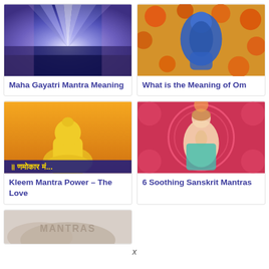[Figure (illustration): Purple and blue light rays illustration for Maha Gayatri Mantra]
Maha Gayatri Mantra Meaning
[Figure (illustration): Blue deity figure with orange floral background for Om meaning article]
What is the Meaning of Om
[Figure (illustration): Yellow Buddha figure with Hindi text Namokar Mantra on orange background]
Kleem Mantra Power – The Love
[Figure (illustration): Woman in prayer pose with decorative mandala background for Sanskrit Mantras]
6 Soothing Sanskrit Mantras
[Figure (illustration): Faded landscape with MANTRAS text overlay]
x